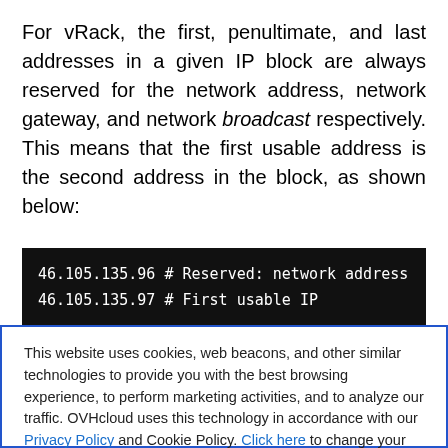For vRack, the first, penultimate, and last addresses in a given IP block are always reserved for the network address, network gateway, and network broadcast respectively. This means that the first usable address is the second address in the block, as shown below:
[Figure (screenshot): Dark terminal code block showing: 46.105.135.96 # Reserved: network address / 46.105.135.97 # First usable IP]
This website uses cookies, web beacons, and other similar technologies to provide you with the best browsing experience, to perform marketing activities, and to analyze our traffic. OVHcloud uses this technology in accordance with our Privacy Policy and Cookie Policy. Click here to change your settings.
Accept